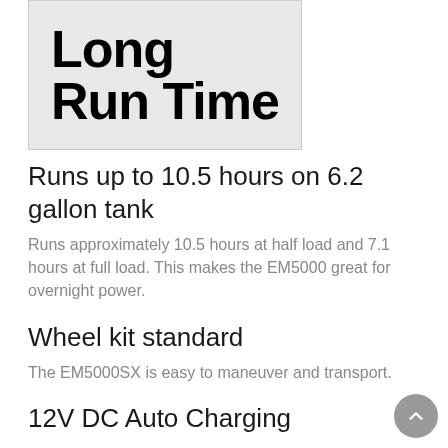[Figure (illustration): Grey banner image with bold black text reading 'Long Run Time' in large bold condensed font]
Runs up to 10.5 hours on 6.2 gallon tank
Runs approximately 10.5 hours at half load and 7.1 hours at full load. This makes the EM5000 great for overnight power.
Wheel kit standard
The EM5000SX is easy to maneuver and transport.
12V DC Auto Charging
Use when charging 12-volt automotive type